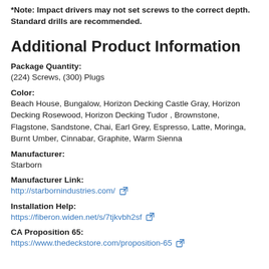*Note: Impact drivers may not set screws to the correct depth. Standard drills are recommended.
Additional Product Information
Package Quantity:
(224) Screws, (300) Plugs
Color:
Beach House, Bungalow, Horizon Decking Castle Gray, Horizon Decking Rosewood, Horizon Decking Tudor , Brownstone, Flagstone, Sandstone, Chai, Earl Grey, Espresso, Latte, Moringa, Burnt Umber, Cinnabar, Graphite, Warm Sienna
Manufacturer:
Starborn
Manufacturer Link:
http://starbornindustries.com/
Installation Help:
https://fiberon.widen.net/s/7tjkvbh2sf
CA Proposition 65:
https://www.thedeckstore.com/proposition-65